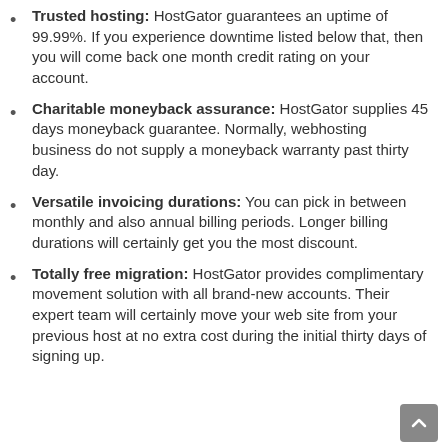Trusted hosting: HostGator guarantees an uptime of 99.99%. If you experience downtime listed below that, then you will come back one month credit rating on your account.
Charitable moneyback assurance: HostGator supplies 45 days moneyback guarantee. Normally, webhosting business do not supply a moneyback warranty past thirty day.
Versatile invoicing durations: You can pick in between monthly and also annual billing periods. Longer billing durations will certainly get you the most discount.
Totally free migration: HostGator provides complimentary movement solution with all brand-new accounts. Their expert team will certainly move your web site from your previous host at no extra cost during the initial thirty days of signing up.